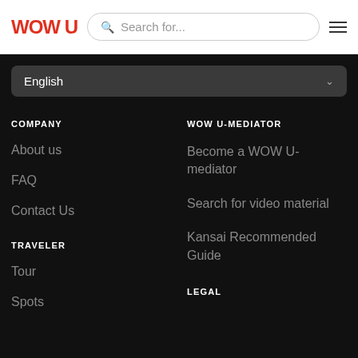WOW U — Search for...
English
COMPANY
About us
FAQ
Contact Us
WOW U-MEDIATOR
Become a WOW U-mediator
Search for video material
Kansai Recommended Guide
TRAVELER
Tour
Spots
LEGAL